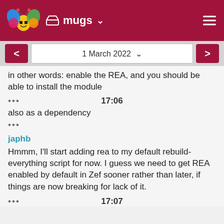mugs
1 March 2022
in other words: enable the REA, and you should be able to install the module
••• 17:06
also as a dependency
•••
japhb
Hmmm, I'll start adding rea to my default rebuild-everything script for now. I guess we need to get REA enabled by default in Zef sooner rather than later, if things are now breaking for lack of it.
••• 17:07